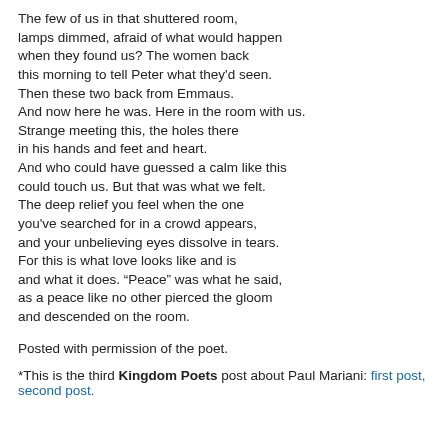The few of us in that shuttered room,
lamps dimmed, afraid of what would happen
when they found us? The women back
this morning to tell Peter what they'd seen.
Then these two back from Emmaus.
And now here he was. Here in the room with us.
Strange meeting this, the holes there
in his hands and feet and heart.
And who could have guessed a calm like this
could touch us. But that was what we felt.
The deep relief you feel when the one
you've searched for in a crowd appears,
and your unbelieving eyes dissolve in tears.
For this is what love looks like and is
and what it does. “Peace” was what he said,
as a peace like no other pierced the gloom
and descended on the room.
Posted with permission of the poet.
*This is the third Kingdom Poets post about Paul Mariani: first post, second post.